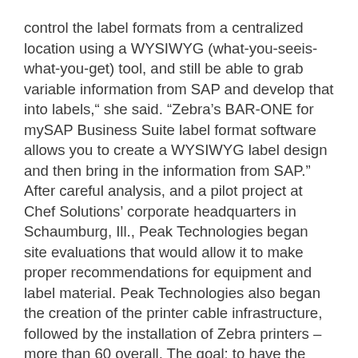control the label formats from a centralized location using a WYSIWYG (what-you-seeis-what-you-get) tool, and still be able to grab variable information from SAP and develop that into labels,” she said. “Zebra’s BAR-ONE for mySAP Business Suite label format software allows you to create a WYSIWYG label design and then bring in the information from SAP.” After careful analysis, and a pilot project at Chef Solutions’ corporate headquarters in Schaumburg, Ill., Peak Technologies began site evaluations that would allow it to make proper recommendations for equipment and label material. Peak Technologies also began the creation of the printer cable infrastructure, followed by the installation of Zebra printers – more than 60 overall. The goal: to have the facilities brought online in three one-month phases.
Sixty printers, one powerful system
The new network uses approximately 60 Zebra